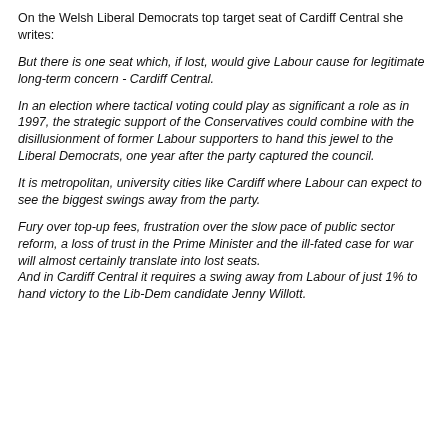On the Welsh Liberal Democrats top target seat of Cardiff Central she writes:
But there is one seat which, if lost, would give Labour cause for legitimate long-term concern - Cardiff Central.
In an election where tactical voting could play as significant a role as in 1997, the strategic support of the Conservatives could combine with the disillusionment of former Labour supporters to hand this jewel to the Liberal Democrats, one year after the party captured the council.
It is metropolitan, university cities like Cardiff where Labour can expect to see the biggest swings away from the party.
Fury over top-up fees, frustration over the slow pace of public sector reform, a loss of trust in the Prime Minister and the ill-fated case for war will almost certainly translate into lost seats. And in Cardiff Central it requires a swing away from Labour of just 1% to hand victory to the Lib-Dem candidate Jenny Willott.